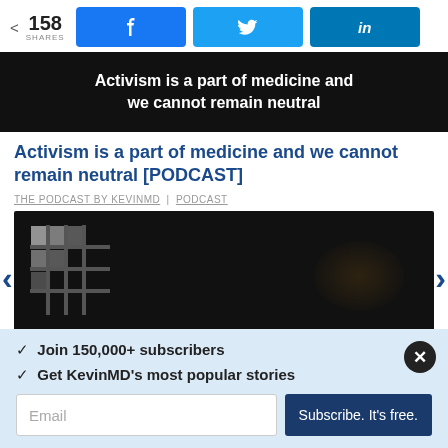< 158 SHARES
[Figure (screenshot): Black background image with white bold text: 'Activism is a part of medicine and we cannot remain neutral']
Activism is a part of medicine and we cannot remain neutral [PODCAST]
THE PODCAST BY KEVINMD | PODCAST
[Figure (photo): Dark/black photo with a grid-pattern window letting in light on the left side]
✓  Join 150,000+ subscribers
✓  Get KevinMD's most popular stories
Email  Subscribe. It's free.